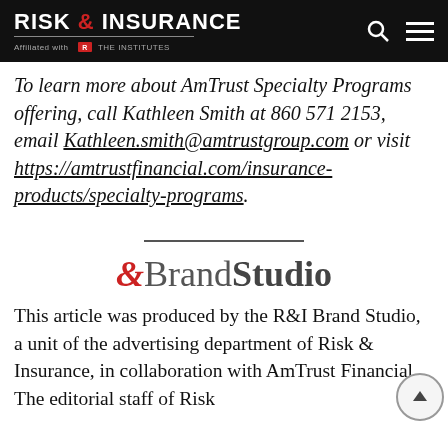RISK & INSURANCE — Affiliated with THE INSTITUTES
To learn more about AmTrust Specialty Programs offering, call Kathleen Smith at 860 571 2153, email Kathleen.smith@amtrustgroup.com or visit https://amtrustfinancial.com/insurance-products/specialty-programs.
[Figure (logo): &BrandStudio logo with red ampersand and gray/dark text]
This article was produced by the R&I Brand Studio, a unit of the advertising department of Risk & Insurance, in collaboration with AmTrust Financial. The editorial staff of Risk & Insurance...